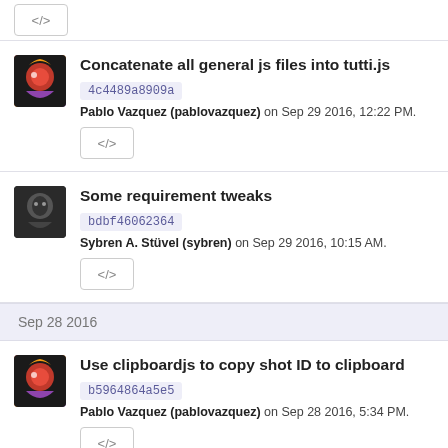[Figure (screenshot): Top code button partially visible at top of page]
Concatenate all general js files into tutti.js
4c4489a8909a
Pablo Vazquez (pablovazquez) on Sep 29 2016, 12:22 PM.
[Figure (screenshot): Code button </>]
Some requirement tweaks
bdbf46062364
Sybren A. Stüvel (sybren) on Sep 29 2016, 10:15 AM.
[Figure (screenshot): Code button </>]
Sep 28 2016
Use clipboardjs to copy shot ID to clipboard
b5964864a5e5
Pablo Vazquez (pablovazquez) on Sep 28 2016, 5:34 PM.
[Figure (screenshot): Code button </>]